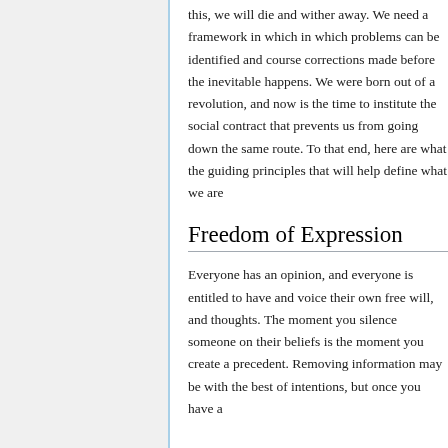this, we will die and wither away. We need a framework in which in which problems can be identified and course corrections made before the inevitable happens. We were born out of a revolution, and now is the time to institute the social contract that prevents us from going down the same route. To that end, here are what the guiding principles that will help define what we are
Freedom of Expression
Everyone has an opinion, and everyone is entitled to have and voice their own free will, and thoughts. The moment you silence someone on their beliefs is the moment you create a precedent. Removing information may be with the best of intentions, but once you have a